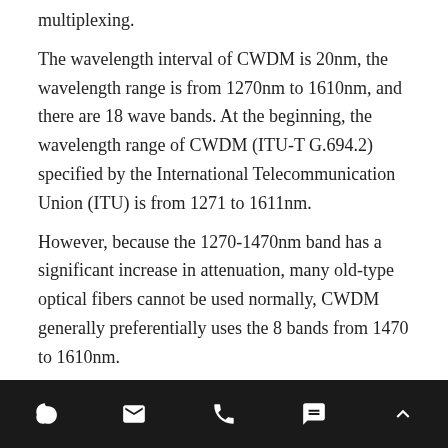multiplexing.
The wavelength interval of CWDM is 20nm, the wavelength range is from 1270nm to 1610nm, and there are 18 wave bands. At the beginning, the wavelength range of CWDM (ITU-T G.694.2) specified by the International Telecommunication Union (ITU) is from 1271 to 1611nm.
However, because the 1270-1470nm band has a significant increase in attenuation, many old-type optical fibers cannot be used normally, CWDM generally preferentially uses the 8 bands from 1470 to 1610nm.
DWDM (Dense WDM) dense wavelength division multiplexing
icons: Skype, Email, Phone, Chat, Up